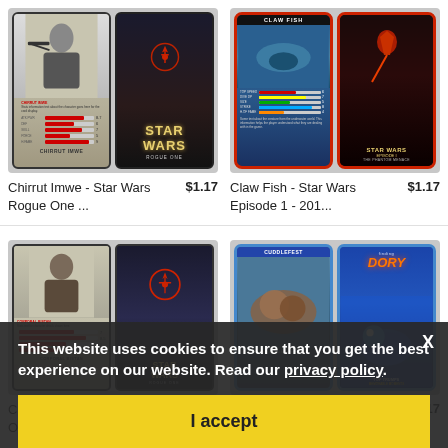[Figure (photo): Two trading cards: Chirrut Imwe Star Wars Rogue One card and Star Wars Rogue One poster card]
Chirrut Imwe - Star Wars Rogue One ...
$1.17
[Figure (photo): Two trading cards: Claw Fish Star Wars Episode 1 card and Top Trumps Star Wars Episode 1 card]
Claw Fish - Star Wars Episode 1 - 201...
$1.17
[Figure (photo): Two trading cards: Corporal Bistan Star Wars Rogue One card and Rogue One poster card]
Corporal Bistan - Star Wars Rogue On...
[Figure (photo): Two trading cards: Cuddlefest card and Finding Dory Top Trumps card]
Finding Dory 2017 Top Tr...
$1.17
This website uses cookies to ensure that you get the best experience on our website. Read our privacy policy.
I accept